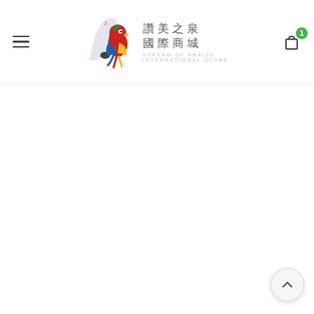讚美之泉 國際商城 Stream of Praise International Store
[Figure (logo): Stream of Praise International Store logo with colorful parrot bird graphic and Chinese/English text: 讚美之泉 國際商城 / STREAM OF PRAISE INTERNATIONAL STORE]
[Figure (other): Back to top button - circular button with upward chevron arrow at bottom right of page]